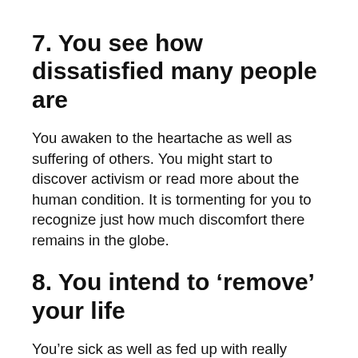7. You see how dissatisfied many people are
You awaken to the heartache as well as suffering of others. You might start to discover activism or read more about the human condition. It is tormenting for you to recognize just how much discomfort there remains in the globe.
8. You intend to ‘remove’ your life
You’re sick as well as fed up with really feeling stranded, depressed, as well as hopeless. Unexpectedly, you really feel the requirement to simplify and also declutter